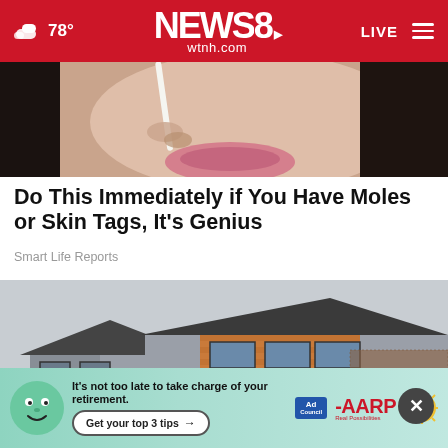NEWS8 wtnh.com — 78° — LIVE
[Figure (photo): Close-up photo of a woman's lower face holding what appears to be a thin object near her mouth, dark hair visible]
Do This Immediately if You Have Moles or Skin Tags, It's Genius
Smart Life Reports
[Figure (photo): Photo of a modern two-story house with stone and wood siding, dark roof, multiple windows, and small trees in front]
[Figure (infographic): AARP advertisement banner: 'It's not too late to take charge of your retirement. Get your top 3 tips' with Ad Council and AARP logos and a green mascot character]